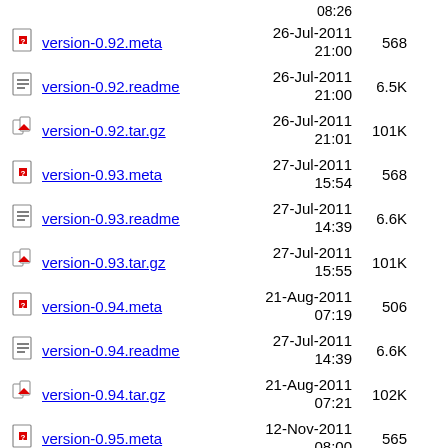version-0.92.meta  26-Jul-2011 21:00  568
version-0.92.readme  26-Jul-2011 21:00  6.5K
version-0.92.tar.gz  26-Jul-2011 21:01  101K
version-0.93.meta  27-Jul-2011 15:54  568
version-0.93.readme  27-Jul-2011 14:39  6.6K
version-0.93.tar.gz  27-Jul-2011 15:55  101K
version-0.94.meta  21-Aug-2011 07:19  506
version-0.94.readme  27-Jul-2011 14:39  6.6K
version-0.94.tar.gz  21-Aug-2011 07:21  102K
version-0.95.meta  12-Nov-2011 08:00  565
version-0.95.readme  12-Nov-2011 07:11  7.6K